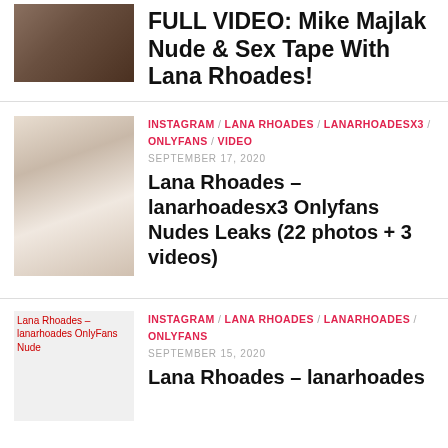Article item 1 (partial top)
FULL VIDEO: Mike Majlak Nude & Sex Tape With Lana Rhoades!
Article item 2
INSTAGRAM / LANA RHOADES / LANARHOADESX3 / ONLYFANS / VIDEO
SEPTEMBER 17, 2020
Lana Rhoades – lanarhoadesx3 Onlyfans Nudes Leaks (22 photos + 3 videos)
Article item 3 (partial bottom)
INSTAGRAM / LANA RHOADES / LANARHOADES / ONLYFANS
SEPTEMBER 15, 2020
Lana Rhoades – lanarhoades